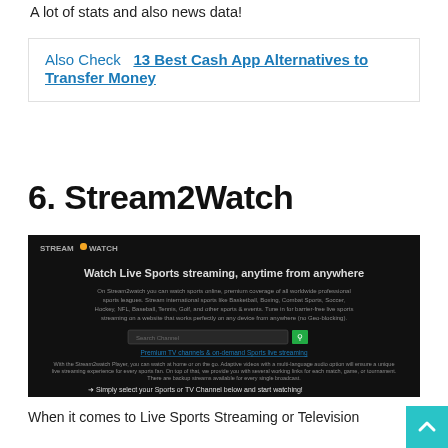A lot of stats and also news data!
Also Check   13 Best Cash App Alternatives to Transfer Money
6. Stream2Watch
[Figure (screenshot): Screenshot of Stream2Watch website showing dark background with 'Watch Live Sports streaming, anytime from anywhere' headline, search channel bar, and description text about premium TV channels and on-demand sports live streaming.]
When it comes to Live Sports Streaming or Television